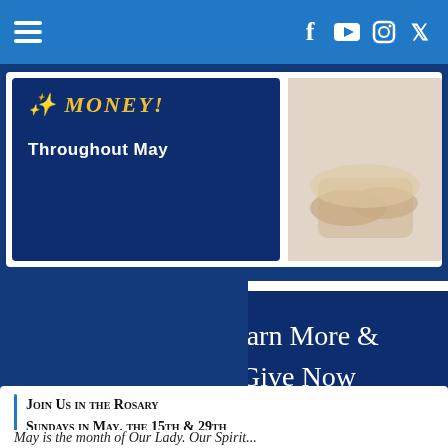Navigation bar with hamburger menu and social icons: Facebook, YouTube, Instagram, Twitter
Throughout May
[Figure (photo): Photo of hands, likely praying or folded together]
Learn More & Give Now
Join Us in the Rosary Sundays in May, the 15th & 29th
May is the month of Our Lady. Our Spiritual...